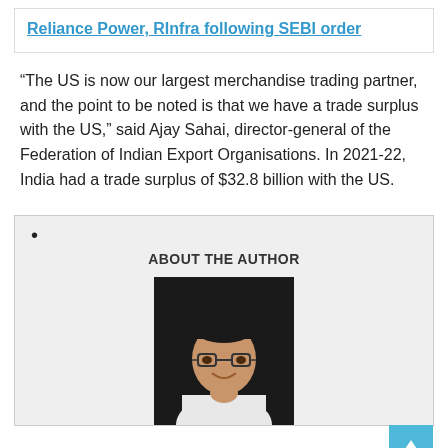Reliance Power, RInfra following SEBI order
“The US is now our largest merchandise trading partner, and the point to be noted is that we have a trade surplus with the US,” said Ajay Sahai, director-general of the Federation of Indian Export Organisations. In 2021-22, India had a trade surplus of $32.8 billion with the US.
•
ABOUT THE AUTHOR
[Figure (photo): Headshot photo of a young man with glasses, smiling, wearing a white shirt, against a dark background]